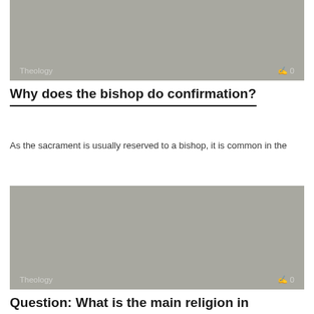[Figure (photo): Gray placeholder image with Theology label and comment count 0 in bottom left and right corners respectively]
Why does the bishop do confirmation?
As the sacrament is usually reserved to a bishop, it is common in the
[Figure (photo): Gray placeholder image with Theology label and comment count 0 in bottom left and right corners respectively]
Question: What is the main religion in Djibouti?